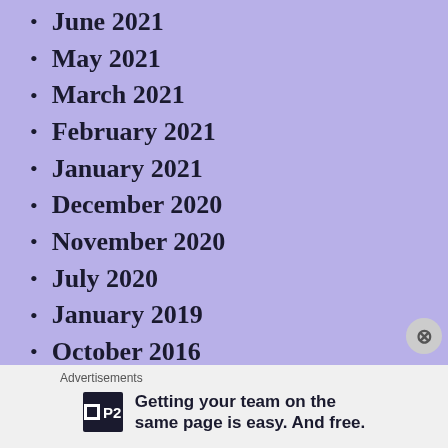June 2021
May 2021
March 2021
February 2021
January 2021
December 2020
November 2020
July 2020
January 2019
October 2016
June 2016
February 2016
January 2016
November 2015
Advertisements
P2 Getting your team on the same page is easy. And free.